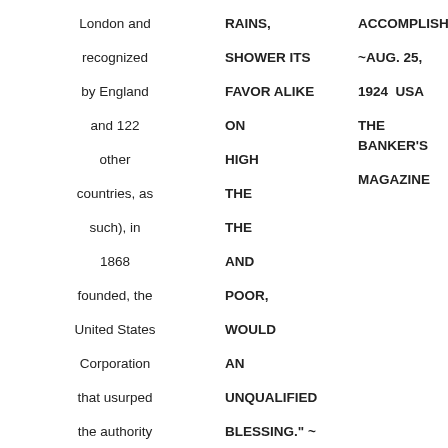London and recognized by England and 122 other countries, as such), in 1868 founded, the United States Corporation that usurped the authority of & destroyed the Republic of the united States of America government (as the 1776
RAINS, SHOWER ITS FAVOR ALIKE ON THE HIGH AND THE THE AND POOR, WOULD AN UNQUALIFIED BLESSING." ~ PRESIDENT ANDREW JACKSON, 1829-1837
ACCOMPLISHED ~AUG. 25, 1924 USA THE BANKER'S MAGAZINE